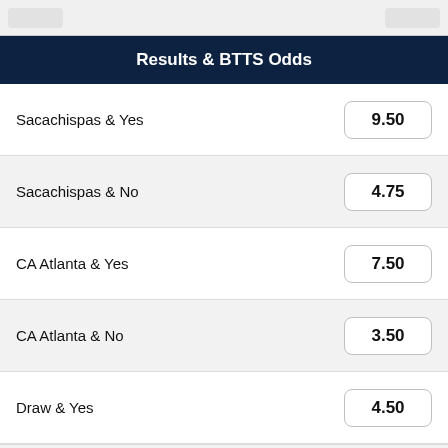Results & BTTS Odds
| Bet | Odds |
| --- | --- |
| Sacachispas & Yes | 9.50 |
| Sacachispas & No | 4.75 |
| CA Atlanta & Yes | 7.50 |
| CA Atlanta & No | 3.50 |
| Draw & Yes | 4.50 |